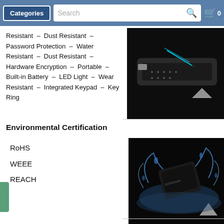Categories | Search | 0
Resistant – Dust Resistant – Password Protection – Water Resistant – Dust Resistant – Hardware Encryption – Portable – Built-in Battery – LED Light – Wear Resistant – Integrated Keypad – Key Ring
[Figure (photo): Close-up of a secure encrypted USB drive with blue LED light and keypad, on dark background]
Environmental Certification
RoHS
WEEE
REACH
[Figure (photo): Secure encrypted USB drive (DataShur brand) splashing in water, demonstrating water resistance]